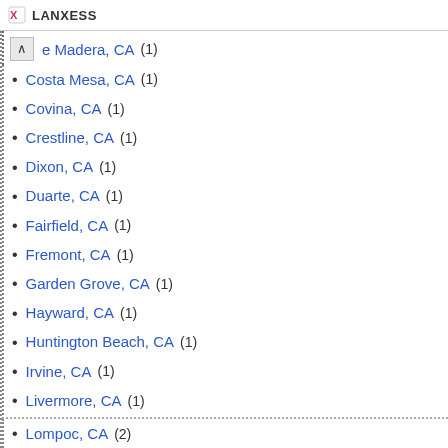LANXESS
e Madera, CA (1)
Costa Mesa, CA (1)
Covina, CA (1)
Crestline, CA (1)
Dixon, CA (1)
Duarte, CA (1)
Fairfield, CA (1)
Fremont, CA (1)
Garden Grove, CA (1)
Hayward, CA (1)
Huntington Beach, CA (1)
Irvine, CA (1)
Livermore, CA (1)
Lompoc, CA (2)
Los Angeles, CA (1)
Mountain View, CA (1)
North Hollywood, CA (2)